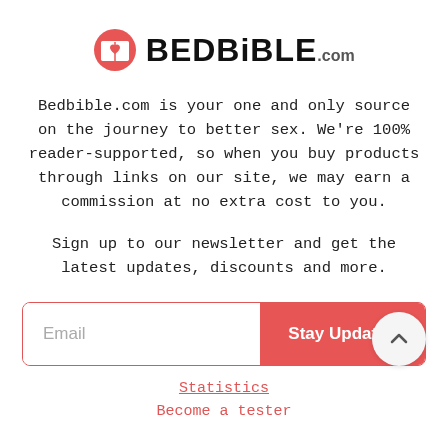[Figure (logo): BedBible.com logo with red heart/book icon and bold text]
Bedbible.com is your one and only source on the journey to better sex. We're 100% reader-supported, so when you buy products through links on our site, we may earn a commission at no extra cost to you.
Sign up to our newsletter and get the latest updates, discounts and more.
[Figure (other): Email input field with red Stay Updated button]
[Figure (other): Up arrow scroll-to-top circular button]
Statistics
Become a tester